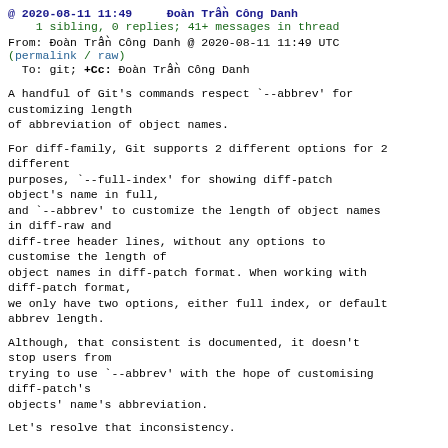@ 2020-08-11 11:49     Đoàn Trần Công Danh
1 sibling, 0 replies; 41+ messages in thread
From: Đoàn Trần Công Danh @ 2020-08-11 11:49 UTC
(permalink / raw)
  To: git; +Cc: Đoàn Trần Công Danh
A handful of Git's commands respect `--abbrev' for customizing length
of abbreviation of object names.
For diff-family, Git supports 2 different options for 2 different
purposes, `--full-index' for showing diff-patch object's name in full,
and `--abbrev' to customize the length of object names in diff-raw and
diff-tree header lines, without any options to customise the length of
object names in diff-patch format. When working with diff-patch format,
we only have two options, either full index, or default abbrev length.
Although, that consistent is documented, it doesn't stop users from
trying to use `--abbrev' with the hope of customising diff-patch's
objects' name's abbreviation.
Let's resolve that inconsistency.